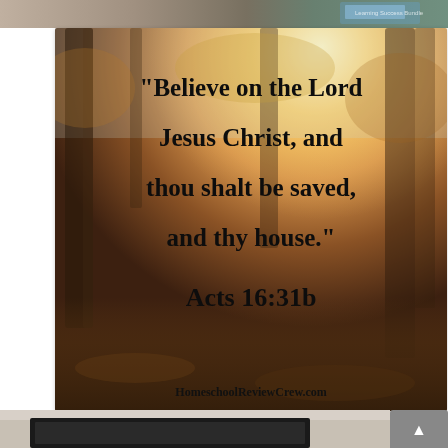[Figure (photo): Top strip showing partial image with book/learning materials]
[Figure (photo): Autumn forest background image with Bible verse text overlay reading: "Believe on the Lord Jesus Christ, and thou shalt be saved, and thy house." Acts 16:31b — with HomeschoolReviewCrew.com watermark at bottom]
"Believe on the Lord Jesus Christ, and thou shalt be saved, and thy house." Acts 16:31b
HomeschoolReviewCrew.com
[Figure (photo): Bottom partial image showing desk/monitor scene, with gray scroll-to-top button on right]